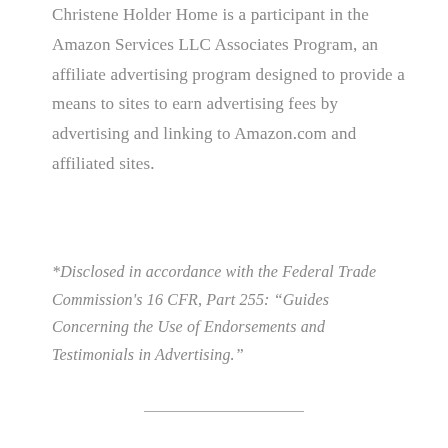Christene Holder Home is a participant in the Amazon Services LLC Associates Program, an affiliate advertising program designed to provide a means to sites to earn advertising fees by advertising and linking to Amazon.com and affiliated sites.
*Disclosed in accordance with the Federal Trade Commission's 16 CFR, Part 255: “Guides Concerning the Use of Endorsements and Testimonials in Advertising.”